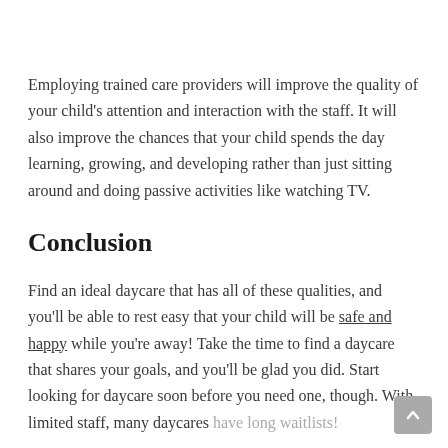Employing trained care providers will improve the quality of your child's attention and interaction with the staff. It will also improve the chances that your child spends the day learning, growing, and developing rather than just sitting around and doing passive activities like watching TV.
Conclusion
Find an ideal daycare that has all of these qualities, and you'll be able to rest easy that your child will be safe and happy while you're away! Take the time to find a daycare that shares your goals, and you'll be glad you did. Start looking for daycare soon before you need one, though. With limited staff, many daycares have long waitlists!